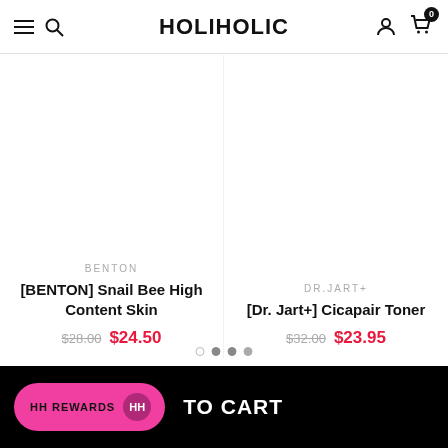HOLIHOLIC
BENTON
[BENTON] Snail Bee High Content Skin
$28.00  $24.50
DR.JART+
[Dr. Jart+] Cicapair Toner
$32.00  $23.95
HH REWARDS  TO CART